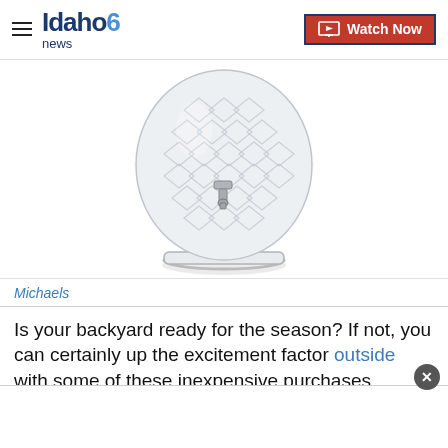Idaho News 6 | Watch Now
[Figure (photo): A glass pineapple-shaped drink dispenser jar with a spigot, photographed on a white background. The glass has a textured diamond/scale pattern.]
Michaels
Is your backyard ready for the season? If not, you can certainly up the excitement factor outside with some of these inexpensive purchases. Enjoy!